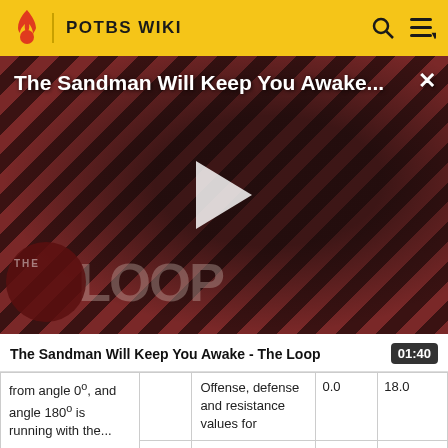POTBS WIKI
[Figure (screenshot): Video thumbnail for 'The Sandman Will Keep You Awake - The Loop' showing a figure in black with diagonal stripe background and THE LOOP overlay text. Play button visible in center.]
The Sandman Will Keep You Awake - The Loop  01:40
| from angle 0°, and angle 180° is running with the wind |  | Offense, defense and resistance values for | 0.0 | 18.0 |
|  |  |  | 0.0 | 18.0 |
|  |  |  | 0.0 | 18.0 |
|  |  |  | 0.0 | 18.0 |